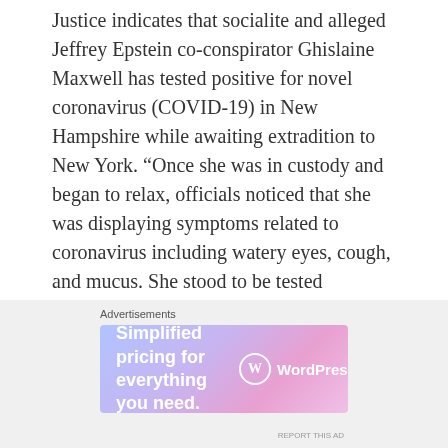Justice indicates that socialite and alleged Jeffrey Epstein co-conspirator Ghislaine Maxwell has tested positive for novel coronavirus (COVID-19) in New Hampshire while awaiting extradition to New York. “Once she was in custody and began to relax, officials noticed that she was displaying symptoms related to coronavirus including watery eyes, cough, and mucus. She stood to be tested regardless of symptoms while in custody, but her symptoms and the profile of this particular case caused local officials to speed up the testing practice,” a release from
Advertisements
[Figure (other): WordPress.com advertisement banner with gradient background (blue to purple to pink) showing text 'Simplified pricing for everything you need.' and WordPress.com logo]